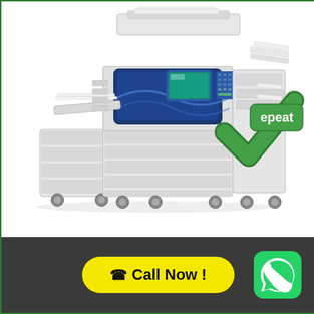[Figure (photo): Large commercial/office multifunction printer (Xerox WorkCentre) in white and navy blue with multiple paper trays, document feeder, finisher, and casters. An EPEAT certification badge (green checkmark with 'epeat' text) is overlaid at the bottom right of the printer image.]
☎ Call Now !
[Figure (logo): WhatsApp logo: green rounded square with white phone/chat icon]